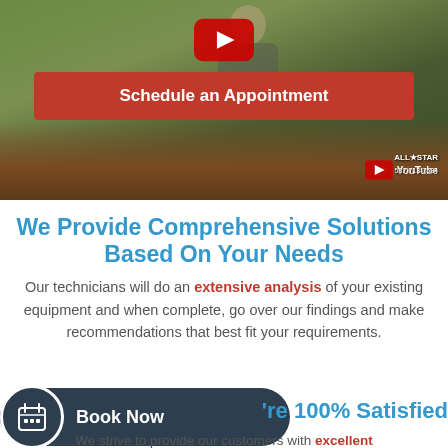[Figure (screenshot): Video thumbnail showing a person at a desk with YouTube play button overlay and a red 'Schedule an Appointment' button. All-Star logo and YouTube watermark visible in corner.]
We Provide Comprehensive Solutions Based On Your Needs
Our technicians will do an extensive analysis of your existing equipment and when complete, go over our findings and make recommendations that best fit your requirements.
[Figure (infographic): Dark teal 'Book Now' button with calendar icon on left and text 'Book Now']
're 100% Satisfied
We strive to provide our customers with excellent